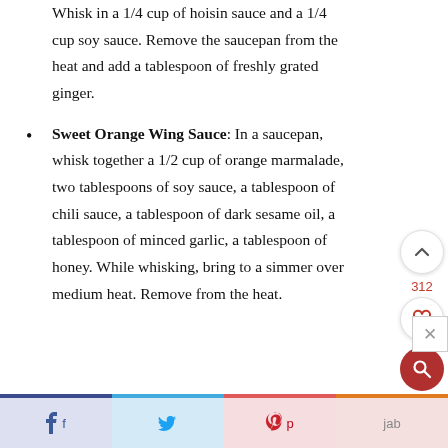Whisk in a 1/4 cup of hoisin sauce and a 1/4 cup soy sauce. Remove the saucepan from the heat and add a tablespoon of freshly grated ginger.
Sweet Orange Wing Sauce: In a saucepan, whisk together a 1/2 cup of orange marmalade, two tablespoons of soy sauce, a tablespoon of chili sauce, a tablespoon of dark sesame oil, a tablespoon of minced garlic, a tablespoon of honey. While whisking, bring to a simmer over medium heat. Remove from the heat.